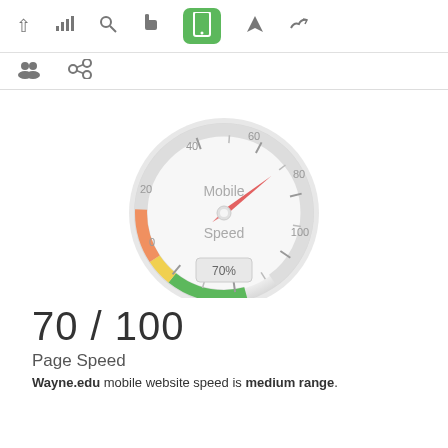[Figure (screenshot): Top navigation toolbar with icons: chevron up, bar chart, search, hand pointer, mobile phone (active/highlighted green), rocket/send, thumbs up]
[Figure (screenshot): Second toolbar row with people group icon and chain link icon]
[Figure (other): Speedometer/gauge showing Mobile Speed score. The gauge needle points to approximately 70. Color bands: red/orange from ~40-60, yellow from ~60-70, green from ~70-100. Labels on gauge: 0, 20, 40, 60, 80, 100. Center text: Mobile / Speed. Bottom display box shows '70%'.]
70 / 100
Page Speed
Wayne.edu mobile website speed is medium range.